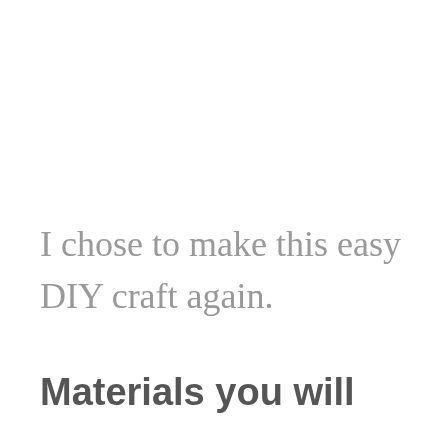I chose to make this easy DIY craft again.
Materials you will